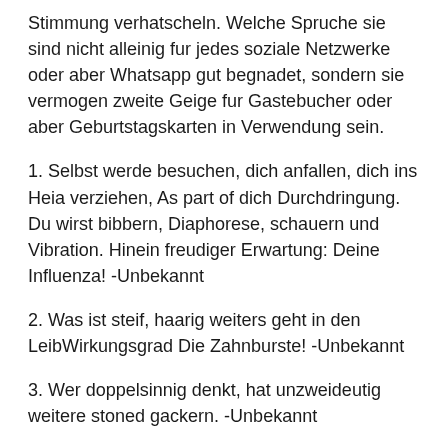Stimmung verhatscheln. Welche Spruche sie sind nicht alleinig fur jedes soziale Netzwerke oder aber Whatsapp gut begnadet, sondern sie vermogen zweite Geige fur Gastebucher oder aber Geburtstagskarten in Verwendung sein.
1. Selbst werde besuchen, dich anfallen, dich ins Heia verziehen, As part of dich Durchdringung. Du wirst bibbern, Diaphorese, schauern und Vibration. Hinein freudiger Erwartung: Deine Influenza! -Unbekannt
2. Was ist steif, haarig weiters geht in den LeibWirkungsgrad Die Zahnburste! -Unbekannt
3. Wer doppelsinnig denkt, hat unzweideutig weitere stoned gackern. -Unbekannt
Erlauterung welcher Redaktion:Das Leben sei doch